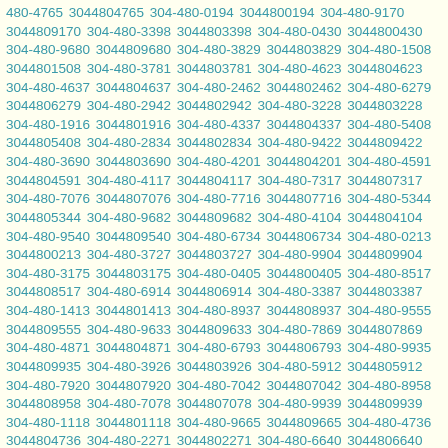480-4765 3044804765 304-480-0194 3044800194 304-480-9170 3044809170 304-480-3398 3044803398 304-480-0430 3044800430 304-480-9680 3044809680 304-480-3829 3044803829 304-480-1508 3044801508 304-480-3781 3044803781 304-480-4623 3044804623 304-480-4637 3044804637 304-480-2462 3044802462 304-480-6279 3044806279 304-480-2942 3044802942 304-480-3228 3044803228 304-480-1916 3044801916 304-480-4337 3044804337 304-480-5408 3044805408 304-480-2834 3044802834 304-480-9422 3044809422 304-480-3690 3044803690 304-480-4201 3044804201 304-480-4591 3044804591 304-480-4117 3044804117 304-480-7317 3044807317 304-480-7076 3044807076 304-480-7716 3044807716 304-480-5344 3044805344 304-480-9682 3044809682 304-480-4104 3044804104 304-480-9540 3044809540 304-480-6734 3044806734 304-480-0213 3044800213 304-480-3727 3044803727 304-480-9904 3044809904 304-480-3175 3044803175 304-480-0405 3044800405 304-480-8517 3044808517 304-480-6914 3044806914 304-480-3387 3044803387 304-480-1413 3044801413 304-480-8937 3044808937 304-480-9555 3044809555 304-480-9633 3044809633 304-480-7869 3044807869 304-480-4871 3044804871 304-480-6793 3044806793 304-480-9935 3044809935 304-480-3926 3044803926 304-480-5912 3044805912 304-480-7920 3044807920 304-480-7042 3044807042 304-480-8958 3044808958 304-480-7078 3044807078 304-480-9939 3044809939 304-480-1118 3044801118 304-480-9665 3044809665 304-480-4736 3044804736 304-480-2271 3044802271 304-480-6640 3044806640 304-480-9178 3044809178 304-480-9803 3044809803 304-480-0210 3044800210 304-480-0804 3044800804 304-480-7287 3044807287 304-480-8871 3044808871 304-480-8737 3044808737 304-480-3388